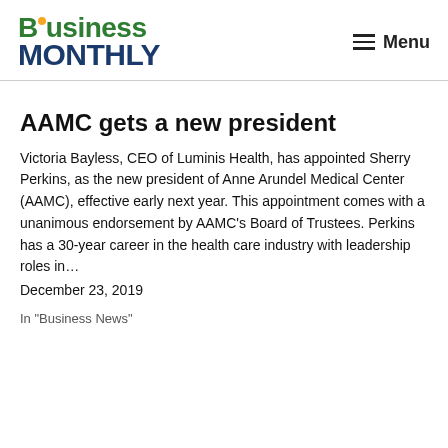Business Monthly — Menu
AAMC gets a new president
Victoria Bayless, CEO of Luminis Health, has appointed Sherry Perkins, as the new president of Anne Arundel Medical Center (AAMC), effective early next year. This appointment comes with a unanimous endorsement by AAMC's Board of Trustees. Perkins has a 30-year career in the health care industry with leadership roles in…
December 23, 2019
In "Business News"